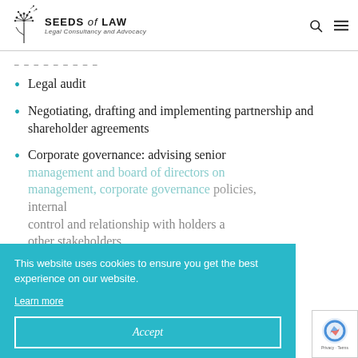SEEDS of LAW — Legal Consultancy and Advocacy
– – – – – – – – –
Legal audit
Negotiating, drafting and implementing partnership and shareholder agreements
Corporate governance: advising senior management and board of directors on management, corporate governance policies, internal control and relationship with shareholders and other stakeholders
This website uses cookies to ensure you get the best experience on our website. Learn more
Accept